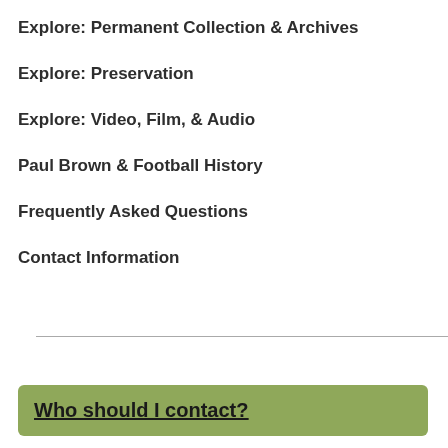Explore: Permanent Collection & Archives
Explore: Preservation
Explore: Video, Film, & Audio
Paul Brown & Football History
Frequently Asked Questions
Contact Information
Who should I contact?